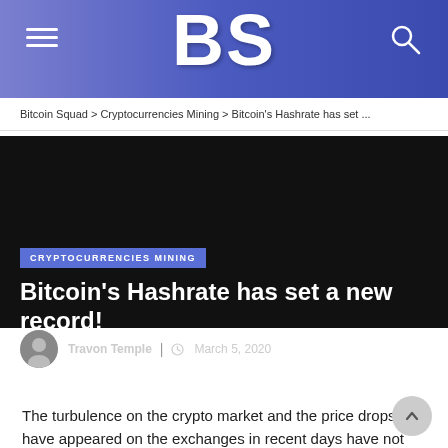BS — Bitcoin Squad
Bitcoin Squad > Cryptocurrencies Mining > Bitcoin's Hashrate has set ...
CRYPTOCURRENCIES MINING
Bitcoin's Hashrate has set a new record!
Travon Temple | March 5, 2020
The turbulence on the crypto market and the price drops that have appeared on the exchanges in recent days have not harmed Bitcoin – on the contrary! He has just reached a new record level in terms of hashrate.